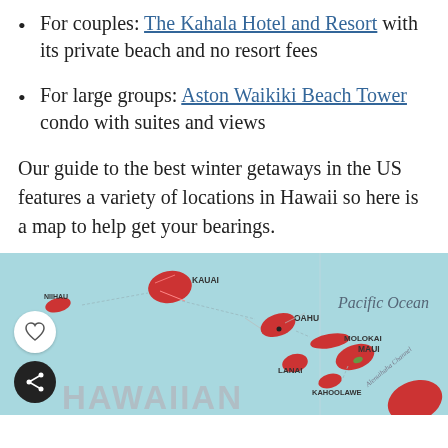For couples: The Kahala Hotel and Resort with its private beach and no resort fees
For large groups: Aston Waikiki Beach Tower condo with suites and views
Our guide to the best winter getaways in the US features a variety of locations in Hawaii so here is a map to help get your bearings.
[Figure (map): Map of the Hawaiian Islands showing Kauai, Niihau, Oahu, Molokai, Lanai, Maui, Kahoolawe, and the Big Island in red against a light blue Pacific Ocean background. The text HAWAIIAN ISLANDS appears at the bottom. Social share and heart buttons visible on the left.]